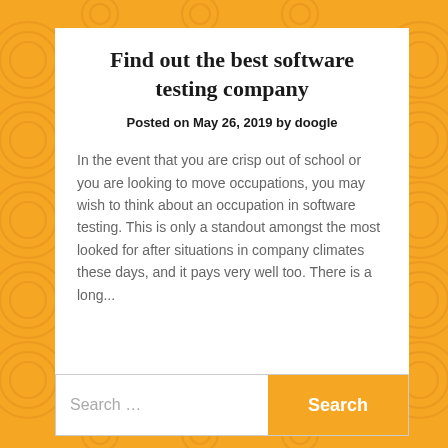Find out the best software testing company
Posted on May 26, 2019 by doogle
In the event that you are crisp out of school or you are looking to move occupations, you may wish to think about an occupation in software testing. This is only a standout amongst the most looked for after situations in company climates these days, and it pays very well too. There is a long...